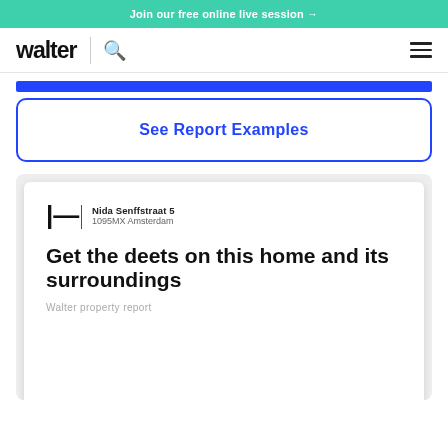Join our free online live session →
[Figure (logo): Walter logo with search icon and hamburger menu navigation bar]
[Figure (other): Blue horizontal progress/fill bar]
See Report Examples
[Figure (screenshot): Preview of a Walter property report card showing address 'Nida Senffstraat 5, 1095MX Amsterdam' and title 'Get the deets on this home and its surroundings' with subtitle 'Walter property report']